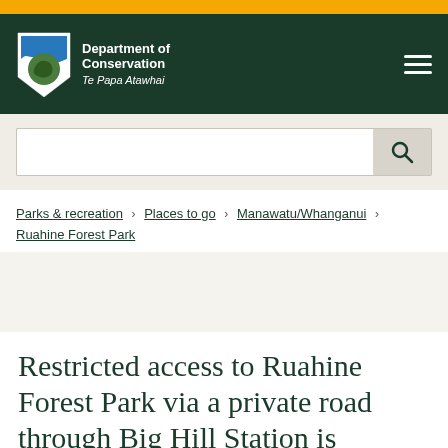[Figure (logo): Department of Conservation Te Papa Atawhai logo - shield with blue wave and green kiwi shape, white text on dark green header]
Parks & recreation > Places to go > Manawatu/Whanganui > Ruahine Forest Park
Restricted access to Ruahine Forest Park via a private road through Big Hill Station is permitted by agreement with the landowner.